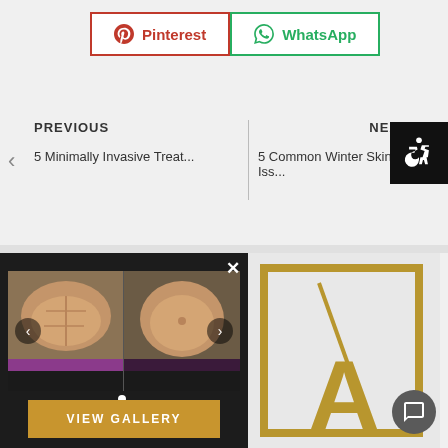[Figure (screenshot): Pinterest and WhatsApp social share buttons at the top of the page]
PREVIOUS
5 Minimally Invasive Treat...
NEXT
5 Common Winter Skin Iss...
[Figure (photo): Before and after photo of abdomen/torso showing body contouring results, displayed in a gallery overlay on dark background]
VIEW GALLERY
[Figure (logo): Medical clinic brand logo with gold letter A and diagonal line in a gold bordered frame]